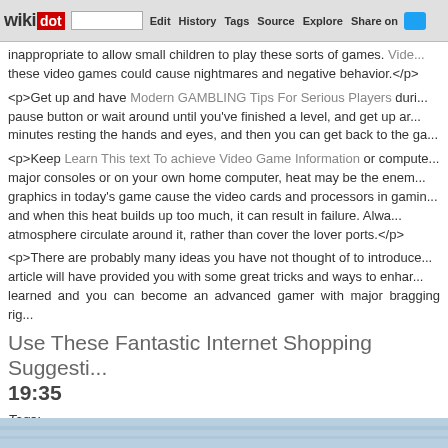wikidot | site | Edit | History | Tags | Source | Explore | Share on Twitter
inappropriate to allow small children to play these sorts of games. Vide... these video games could cause nightmares and negative behavior.</p>
<p>Get up and have Modern GAMBLING Tips For Serious Players duri... pause button or wait around until you've finished a level, and get up ar... minutes resting the hands and eyes, and then you can get back to the ga...
<p>Keep Learn This text To achieve Video Game Information or compute... major consoles or on your own home computer, heat may be the enem... graphics in today's game cause the video cards and processors in gamin... and when this heat builds up too much, it can result in failure. Alwa... atmosphere circulate around it, rather than cover the lover ports.</p>
<p>There are probably many ideas you have not thought of to introduce... article will have provided you with some great tricks and ways to enhar... learned and you can become an advanced gamer with major bragging rig...
Use These Fantastic Internet Shopping Suggesti... 19:35
Tags:
<h1>Implement These Great Shopping Online Recommendations Right n...
<p>In terms of internet shopping, how to spend less? I like the co... transported to my door, having said that i don't want to pay out from the n... all the under useful ideas that will help you save money on your internet p...
[Figure (photo): Bottom image strip showing partial photo, light blue tones]